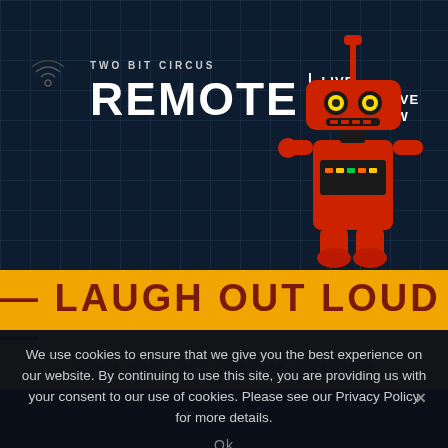[Figure (screenshot): Two Bit Circus Remote Live Interactive Gameshow logo with red robot mascot on dark blue grid background]
— LAUGH OUT LOUD —
WITH TWO BIT CIRCUS REMOTE
We use cookies to ensure that we give you the best experience on our website. By continuing to use this site, you are providing us with your consent to our use of cookies. Please see our Privacy Policy for more details.
Ok